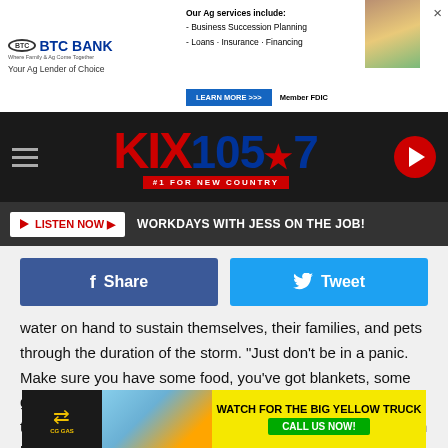[Figure (other): BTC Bank advertisement banner - 'Your Ag Lender of Choice', 'Our Ag services include: Business Succession Planning, Loans, Insurance, Financing', 'LEARN MORE >>>', 'Member FDIC']
[Figure (logo): KIX 105.7 #1 For New Country radio station logo header with hamburger menu and play button]
LISTEN NOW ▶  WORKDAYS WITH JESS ON THE JOB!
[Figure (other): Facebook Share button and Twitter Tweet button]
water on hand to sustain themselves, their families, and pets through the duration of the storm. "Just don't be in a panic. Make sure you have some food, you've got blankets, some games or books to read to kind of occupy you a little bit until this passes, then on Monday we'll be all right. I personally am hoping that by Sunday afternoon we're fine and the game is on." said Clippert.
[Figure (other): Bottom advertisement: 'WATCH FOR THE BIG YELLOW TRUCK - CALL US NOW!' with CG Gas logo and truck image]